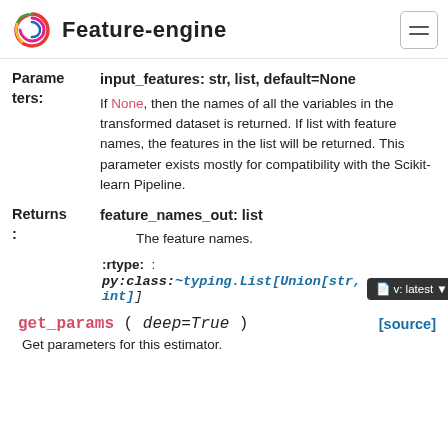Feature-engine
Parameters: input_features: str, list, default=None
If None, then the names of all the variables in the transformed dataset is returned. If list with feature names, the features in the list will be returned. This parameter exists mostly for compatibility with the Scikit-learn Pipeline.
Returns: feature_names_out: list
The feature names.
:rtype: :
py:class:~typing.List[Union[str, int]]
get_params( deep=True ) [source]
Get parameters for this estimator.